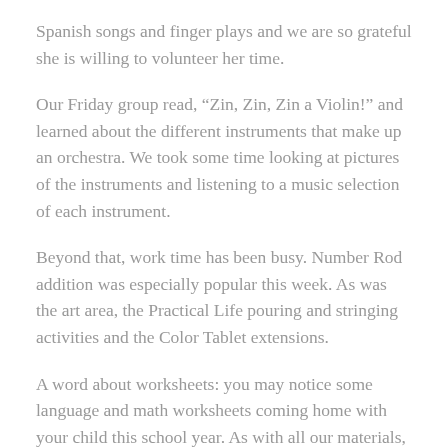Spanish songs and finger plays and we are so grateful she is willing to volunteer her time.
Our Friday group read, “Zin, Zin, Zin a Violin!” and learned about the different instruments that make up an orchestra. We took some time looking at pictures of the instruments and listening to a music selection of each instrument.
Beyond that, work time has been busy. Number Rod addition was especially popular this week. As was the art area, the Practical Life pouring and stringing activities and the Color Tablet extensions.
A word about worksheets: you may notice some language and math worksheets coming home with your child this school year. As with all our materials, the children are invited, not forced, to complete worksheets. Sometimes the worksheets will be done with one of our Montessori materials (such as the Number Rod addition) and others